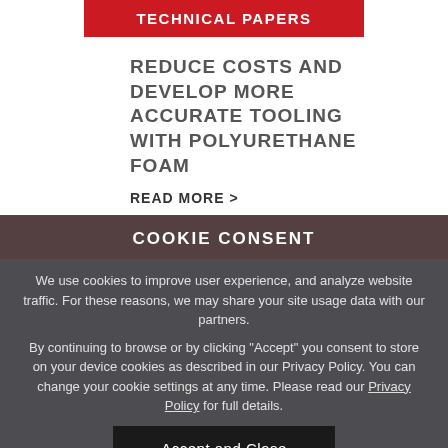TECHNICAL PAPERS
REDUCE COSTS AND DEVELOP MORE ACCURATE TOOLING WITH POLYURETHANE FOAM
READ MORE >
COOKIE CONSENT
We use cookies to improve user experience, and analyze website traffic. For these reasons, we may share your site usage data with our partners.
By continuing to browse or by clicking “Accept” you consent to store on your device cookies as described in our Privacy Policy. You can change your cookie settings at any time. Please read our Privacy Policy for full details.
Accept and Close